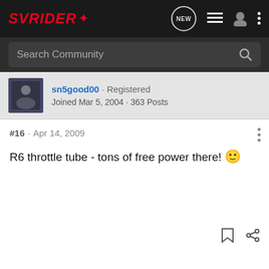SVRider NEW (nav icons)
Search Community
sn5good00 · Registered
Joined Mar 5, 2004 · 363 Posts
#16 · Apr 14, 2009
R6 throttle tube - tons of free power there! 🙂
[Figure (photo): Chevrolet Silverado 2022 advertisement banner showing a truck in an outdoor setting with text 'THE NEW 2022 SILVERADO.' and an Explore button and Chevrolet logo]
THE NEW 2022 SILVERADO.
Explore